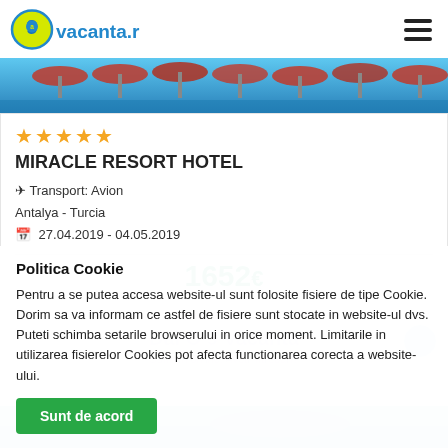9vacanta.ro
[Figure (photo): Hotel pool area with blue water and red sun umbrellas in background]
★★★★★
MIRACLE RESORT HOTEL
✈ Transport: Avion
Antalya - Turcia
📅 27.04.2019 - 04.05.2019
1652€
Politica Cookie
Pentru a se putea accesa website-ul sunt folosite fisiere de tipe Cookie. Dorim sa va informam ce astfel de fisiere sunt stocate in website-ul dvs. Puteti schimba setarile browserului in orice moment. Limitarile in utilizarea fisierelor Cookies pot afecta functionarea corecta a website-ului.
Sunt de acord